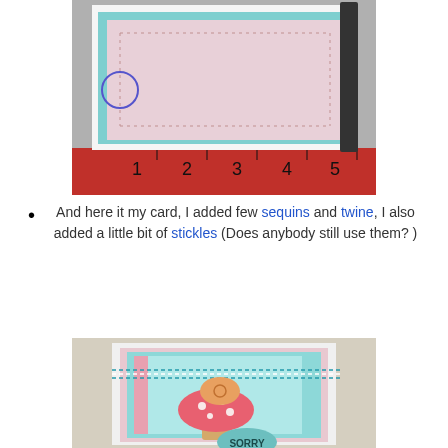[Figure (photo): A handmade card with pink paper on teal matting being measured with a red ruler, showing approximately 6 inches wide. The card has decorative stitching pattern.]
And here it my card, I added few sequins and twine, I also added a little bit of stickles (Does anybody still use them? )
[Figure (photo): A finished handmade greeting card featuring a colorful illustrated snail sitting on top of a red and white spotted mushroom, with blue/pink patterned paper background and twine bow. The word SORRY is visible at the bottom in a teal circle.]